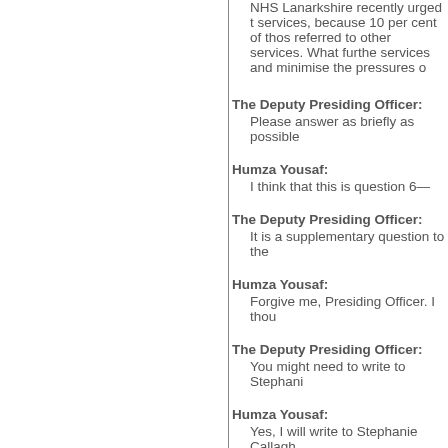NHS Lanarkshire recently urged t services, because 10 per cent of thos referred to other services. What furthe services and minimise the pressures o
The Deputy Presiding Officer: Please answer as briefly as possible
Humza Yousaf: I think that this is question 6—
The Deputy Presiding Officer: It is a supplementary question to the
Humza Yousaf: Forgive me, Presiding Officer. I thou
The Deputy Presiding Officer: You might need to write to Stephani
Humza Yousaf: Yes, I will write to Stephanie Callagh